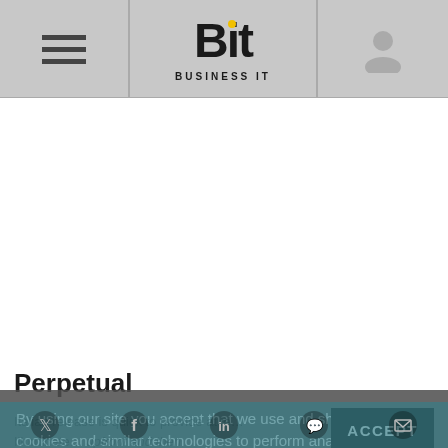Bit — Business IT
[Figure (other): White blank content area (advertisement or image placeholder)]
Perpetual
By using our site you accept that we use and share cookies and similar technologies to perform analytics and provide content and ads tailored to your interests. By continuing to use our site, you consent to this. Please see our Cookie Policy for more information.